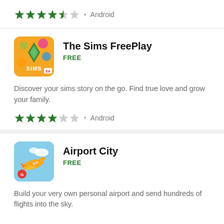[Figure (other): 4.5 green star rating with dot and Android label]
[Figure (other): The Sims FreePlay app icon - orange/yellow with Sims diamond logo]
The Sims FreePlay
FREE
Discover your sims story on the go. Find true love and grow your family.
[Figure (other): 4 green star rating with dot and Android label]
[Figure (other): Airport City app icon - blue sky with yellow airplane]
Airport City
FREE
Build your very own personal airport and send hundreds of flights into the sky.